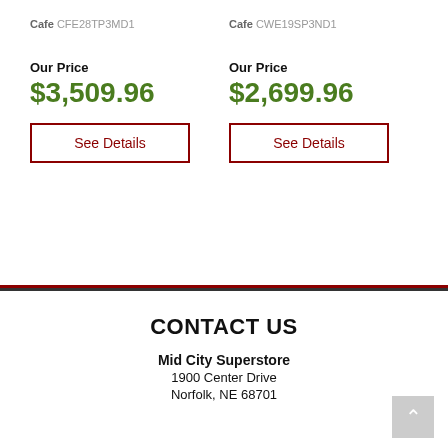Cafe CFE28TP3MD1
Cafe CWE19SP3ND1
Our Price
$3,509.96
See Details
Our Price
$2,699.96
See Details
CONTACT US
Mid City Superstore
1900 Center Drive
Norfolk, NE 68701